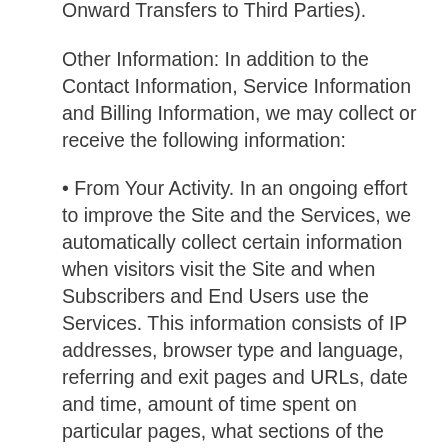processors operating as our agent (See, Onward Transfers to Third Parties).
Other Information: In addition to the Contact Information, Service Information and Billing Information, we may collect or receive the following information:
• From Your Activity. In an ongoing effort to improve the Site and the Services, we automatically collect certain information when visitors visit the Site and when Subscribers and End Users use the Services. This information consists of IP addresses, browser type and language, referring and exit pages and URLs, date and time, amount of time spent on particular pages, what sections of the Site visitors visit, and similar information concerning your use of the Site and the Services.